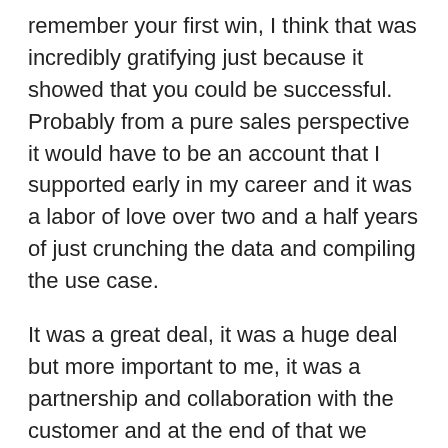remember your first win, I think that was incredibly gratifying just because it showed that you could be successful. Probably from a pure sales perspective it would have to be an account that I supported early in my career and it was a labor of love over two and a half years of just crunching the data and compiling the use case.
It was a great deal, it was a huge deal but more important to me, it was a partnership and collaboration with the customer and at the end of that we were able to come up with an arrangement that was fantastic both from a company perspective but also for the government. For me, that was very personally rewarding to be able to see that start to finish.